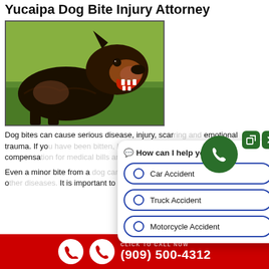Yucaipa Dog Bite Injury Attorney
[Figure (photo): A large black and tan dog with mouth open wide, showing teeth, appearing to bark or bite aggressively, outdoors on green grass background.]
Dog bites can cause serious disease, injury, scarring and emotional trauma. If you have been bitten, Krasney Law can help you get compensation for medical bills and pain and suffering.
Even a minor bite from a dog can infect the victim with rabies, tetanus or other diseases. It is important to see a doctor for any bite wound.
[Figure (screenshot): Chat widget overlay showing 'How can I help you?' with options: Car Accident, Truck Accident, Motorcycle Accident. Green phone bubble icon with expand and close buttons at top right.]
CLICK TO CALL NOW (909) 500-4312